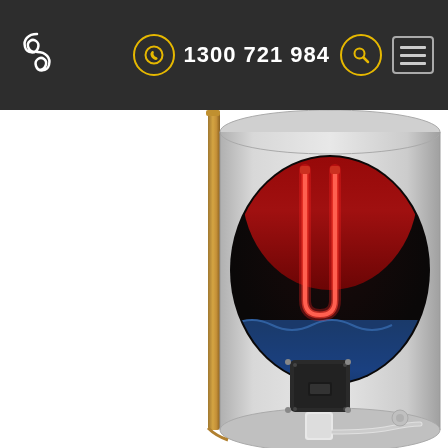1300 721 984
[Figure (photo): Cross-section product photo of a hot water storage tank/heater. The cylindrical unit has a cutaway view showing internal components: a red glowing electric heating element in an upper dark chamber filled with hot water (red/dark red), and a lower blue cold water section. The exterior is light grey/silver with a dark control panel/module on the front lower section and a white cable running from the bottom. A vertical gold/bronze pipe runs along the left side.]